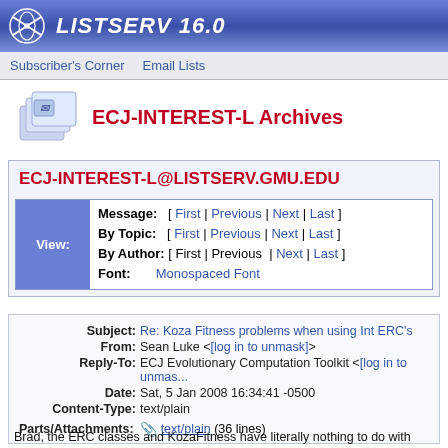LISTSERV 16.0
Subscriber's Corner  Email Lists
ECJ-INTEREST-L Archives
ECJ-INTEREST-L@LISTSERV.GMU.EDU
| View: | Message: | [ First | Previous | Next | Last ] |
|  | By Topic: | [ First | Previous | Next | Last ] |
|  | By Author: | [ First | Previous | Next | Last ] |
|  | Font: | Monospaced Font |
| Subject | From | Reply-To | Date | Content-Type | Parts/Attachments |
| --- | --- | --- | --- | --- | --- |
| Re: Koza Fitness problems when using Int ERC's |  |  |  |  |  |
| Sean Luke <[log in to unmask]> |  |  |  |  |  |
| ECJ Evolutionary Computation Toolkit <[log in to unmask]> |  |  |  |  |  |
| Sat, 5 Jan 2008 16:34:41 -0500 |  |  |  |  |  |
| text/plain |  |  |  |  |  |
| text/plain (36 lines) |  |  |  |  |  |
Brad, the ERC classes and KozaFitness have literally nothing to do with one another. So I'm not sure that's the problem, unless your